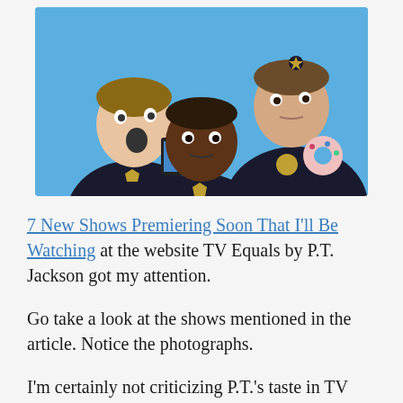[Figure (photo): Three police officers in uniform against a blue background. Left officer holds a smartphone with mouth open in surprise, center officer looks serious, right officer holds a pink frosted donut.]
7 New Shows Premiering Soon That I'll Be Watching at the website TV Equals by P.T. Jackson got my attention.
Go take a look at the shows mentioned in the article. Notice the photographs.
I'm certainly not criticizing P.T.'s taste in TV shows. But, personally, I have a problem